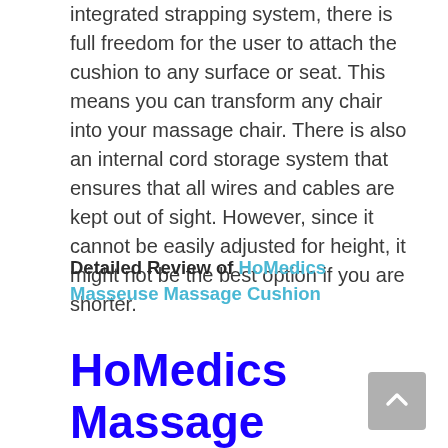integrated strapping system, there is full freedom for the user to attach the cushion to any surface or seat. This means you can transform any chair into your massage chair. There is also an internal cord storage system that ensures that all wires and cables are kept out of sight. However, since it cannot be easily adjusted for height, it might not be the best option if you are shorter.
Detailed Review of HoMedics Masseuse Massage Cushion
HoMedics Massage Cushion with Heat